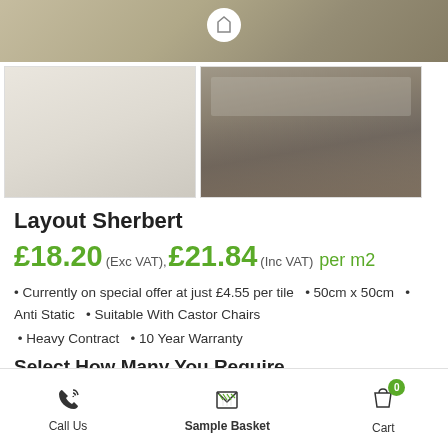[Figure (photo): Close-up texture of beige/tan carpet with a round white badge/button visible at top center]
[Figure (photo): Two thumbnail images side by side: left shows plain cream carpet texture, right shows interior room/office space with carpet flooring]
Layout Sherbert
£18.20 (Exc VAT), £21.84 (Inc VAT)  per m2
Currently on special offer at just £4.55 per tile  •  50cm x 50cm  •  Anti Static  •  Suitable With Castor Chairs
Heavy Contract  •  10 Year Warranty
Select How Many You Require
Call Us   Sample Basket   Cart 0